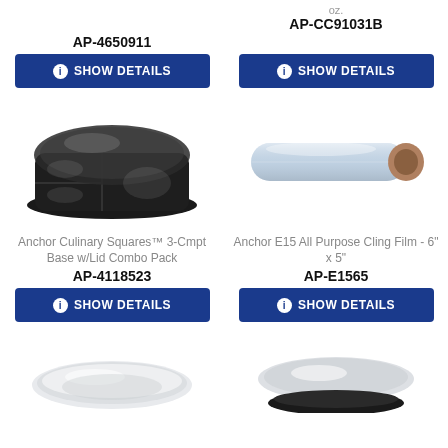oz.
AP-4650911
AP-CC91031B
SHOW DETAILS
SHOW DETAILS
[Figure (photo): Black plastic 3-compartment meal prep container base with clear lid]
[Figure (photo): Roll of transparent cling film / plastic wrap]
Anchor Culinary Squares™ 3-Cmpt Base w/Lid Combo Pack
AP-4118523
Anchor E15 All Purpose Cling Film - 6" x 5"
AP-E1565
SHOW DETAILS
SHOW DETAILS
[Figure (photo): Clear plastic round plate or lid, top view]
[Figure (photo): Clear plastic round plate or lid with dark base, top view]